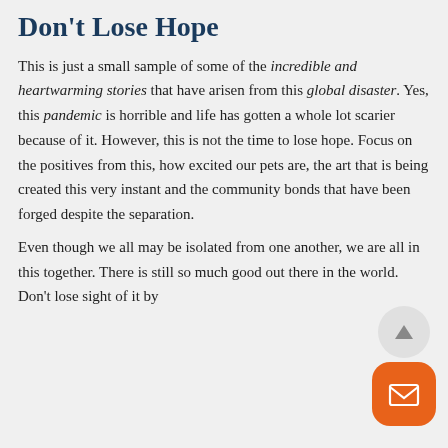Don't Lose Hope
This is just a small sample of some of the incredible and heartwarming stories that have arisen from this global disaster. Yes, this pandemic is horrible and life has gotten a whole lot scarier because of it. However, this is not the time to lose hope. Focus on the positives from this, how excited our pets are, the art that is being created this very instant and the community bonds that have been forged despite the separation.
Even though we all may be isolated from one another, we are all in this together. There is still so much good out there in the world. Don't lose sight of it by